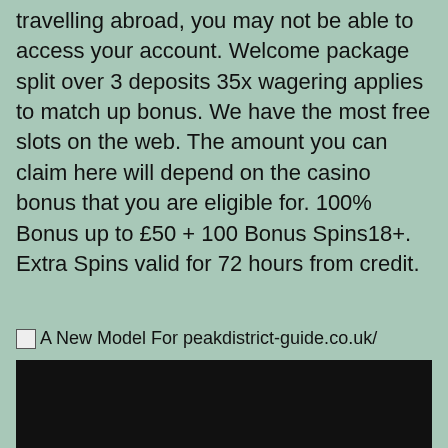travelling abroad, you may not be able to access your account. Welcome package split over 3 deposits 35x wagering applies to match up bonus. We have the most free slots on the web. The amount you can claim here will depend on the casino bonus that you are eligible for. 100% Bonus up to £50 + 100 Bonus Spins18+. Extra Spins valid for 72 hours from credit.
A New Model For peakdistrict-guide.co.uk/
[Figure (photo): A dark/black image region below the caption text]